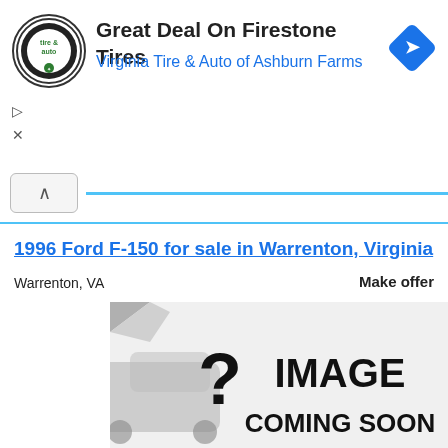[Figure (logo): Virginia Tire & Auto circular logo with 'tire & auto' text]
Great Deal On Firestone Tires
Virginia Tire & Auto of Ashburn Farms
[Figure (other): Blue diamond navigation arrow icon]
▷
×
[Figure (other): Collapse chevron button (^) followed by a blue horizontal divider line]
1996 Ford F-150 for sale in Warrenton, Virginia
Warrenton, VA
Make offer
[Figure (illustration): Image Coming Soon placeholder with a question mark and a car silhouette on the left, white curled page effect]